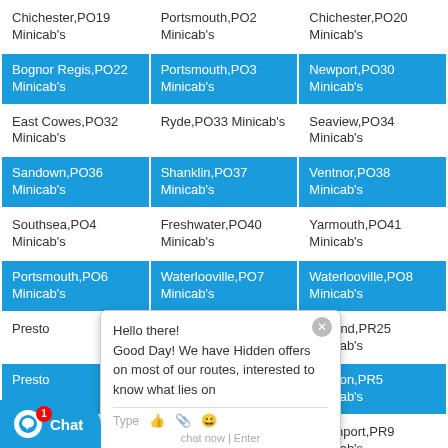| Chichester,PO19 Minicab's | Portsmouth,PO2 Minicab's | Chichester,PO20 Minicab's |
| Bognor Regis,PO22 Minicab's | Portsmouth,PO3 Minicab's | Newport,PO30 Minicab's |
| East Cowes,PO32 Minicab's | Ryde,PO33 Minicab's | Seaview,PO34 Minicab's |
| Sandown,PO36 Minicab's | Shanklin,PO37 Minicab's | Ventnor,PO38 Minicab's |
| Southsea,PO4 Minicab's | Freshwater,PO40 Minicab's | Yarmouth,PO41 Minicab's |
| Portsmouth,PO6 Minicab's | Waterlooville,PO7 Minicab's | Waterlooville,PO8 Minicab's |
| Preston,PR1 Minicab's | Preston,PR2 Minicab's | Leyland,PR25 Minicab's |
| Preston,PR3 Minicab's | Preston,PR4 Minicab's | Preston,PR5 Minicab's |
| Chorley,PR7 Minicab's | Southport,PR8 Minicab's | Southport,PR9 Minicab's |
| Reading,RG10 Minicab's | Bracknell,RG12 Minicab's | Newbury,RG14 Minicab's |